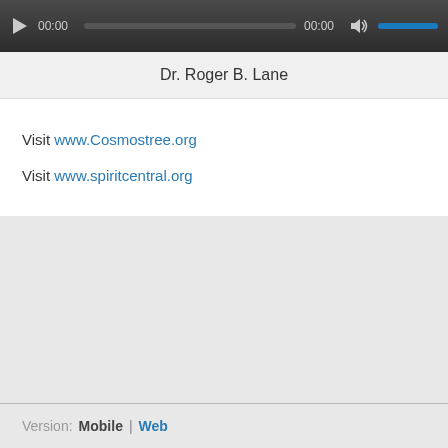[Figure (screenshot): Audio player widget with dark grey background, play button, time displays showing 00:00 and 00:00, volume icon, and blue volume bar]
Dr. Roger B. Lane
Visit www.Cosmostree.org
Visit www.spiritcentral.org
Version: Mobile | Web